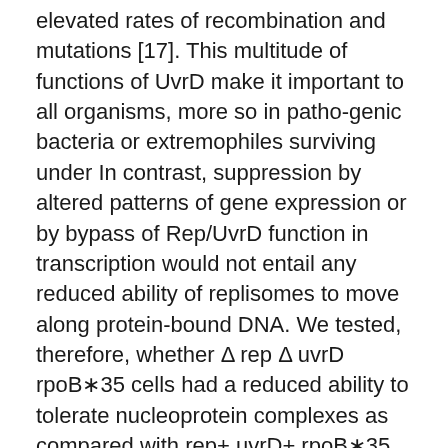elevated rates of recombination and mutations [17]. This multitude of functions of UvrD make it important to all organisms, more so in patho-genic bacteria or extremophiles surviving under In contrast, suppression by altered patterns of gene expression or by bypass of Rep/UvrD function in transcription would not entail any reduced ability of replisomes to move along protein-bound DNA. We tested, therefore, whether Δ rep Δ uvrD rpoB∗35 cells had a reduced ability to tolerate nucleoprotein complexes as compared with rep+ uvrD+ rpoB∗35 cells or cells lacking only one helicase. Helicases are a class of enzymes vital to all organisms.Their main function is to unpack an organism's genes.They are motor proteins that move directionally along a nucleic acid phosphodiester backbone, separating two opposed nucleic acid